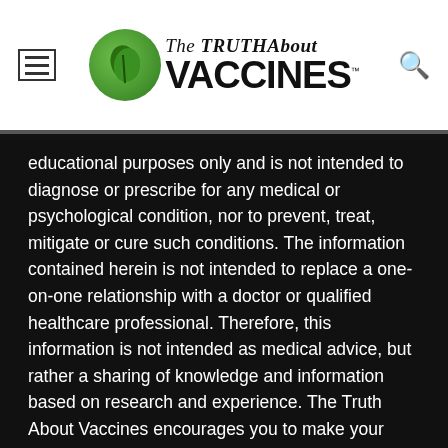[Figure (logo): The Truth About Vaccines logo with green circular emblem and text]
educational purposes only and is not intended to diagnose or prescribe for any medical or psychological condition, nor to prevent, treat, mitigate or cure such conditions. The information contained herein is not intended to replace a one-on-one relationship with a doctor or qualified healthcare professional. Therefore, this information is not intended as medical advice, but rather a sharing of knowledge and information based on research and experience. The Truth About Vaccines encourages you to make your own health care decisions based on your judgment and research in partnership with a qualified healthcare professional.